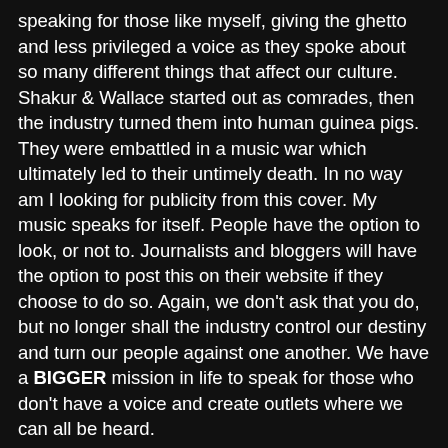speaking for those like myself, giving the ghetto and less privileged a voice as they spoke about so many different things that affect our culture. Shakur & Wallace started out as comrades, then the industry turned them into human guinea pigs. They were embattled in a music war which ultimately led to their untimely death. In no way am I looking for publicity from this cover. My music speaks for itself. People have the option to look, or not to. Journalists and bloggers will have the option to post this on their website if they choose to do so. Again, we don't ask that you do, but no longer shall the industry control our destiny and turn our people against one another. We have a BIGGER mission in life to speak for those who don't have a voice and create outlets where we can all be heard.
–Asaad